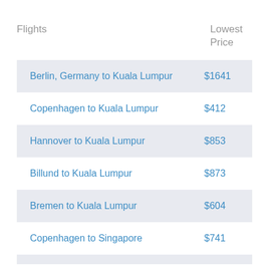| Flights | Lowest Price |
| --- | --- |
| Berlin, Germany to Kuala Lumpur | $1641 |
| Copenhagen to Kuala Lumpur | $412 |
| Hannover to Kuala Lumpur | $853 |
| Billund to Kuala Lumpur | $873 |
| Bremen to Kuala Lumpur | $604 |
| Copenhagen to Singapore | $741 |